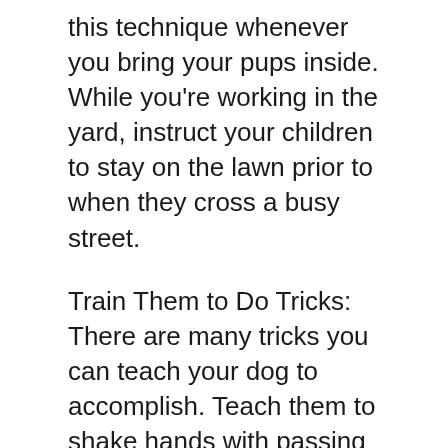this technique whenever you bring your pups inside. While you're working in the yard, instruct your children to stay on the lawn prior to when they cross a busy street.
Train Them to Do Tricks: There are many tricks you can teach your dog to accomplish. Teach them to shake hands with passing strangers. Teach them how to sit, lean and stand. Learn to teach them how to play certain games , such as tug-ofwar and hide and seek.
Utilize different tricks to teach Every Day: Since dogs have distinct personalities based on breed, do not try teaching them all at once. Instead begin by introducing them one at a given time to help them be taught how